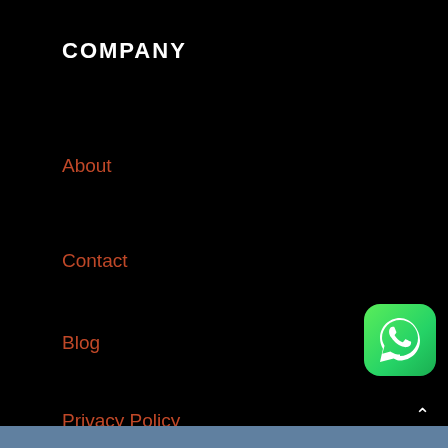COMPANY
About
Contact
Blog
Privacy Policy
CATEGORIES
Crypto Currencies
[Figure (logo): WhatsApp green icon button in bottom right corner]